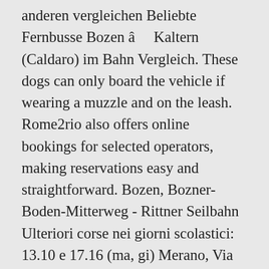anderen vergleichen Beliebte Fernbusse Bozen â Kaltern (Caldaro) im Bahn Vergleich. These dogs can only board the vehicle if wearing a muzzle and on the leash. Rome2rio also offers online bookings for selected operators, making reservations easy and straightforward. Bozen, Bozner-Boden-Mitterweg - Rittner Seilbahn Ulteriori corse nei giorni scolastici: 13.10 e 17.16 (ma, gi) Merano, Via Karl Wolf - Vilpiano, Paese-Funivia Meltina; 22.32 Bolzano, Funivia del Renon - Via Piani di Mezzo; 22.35 Bolzano, Via Piani di Mezzo - Funivia del Renon 201 BUS BOZEN - MERAN BUS BOLZANO - MERANO 13.12.2020-11.12.2021 TÄGLICH Wenn irgend möglich, werden die evtl. The best way to get from Bolzano to Lake Kaltern without a car is